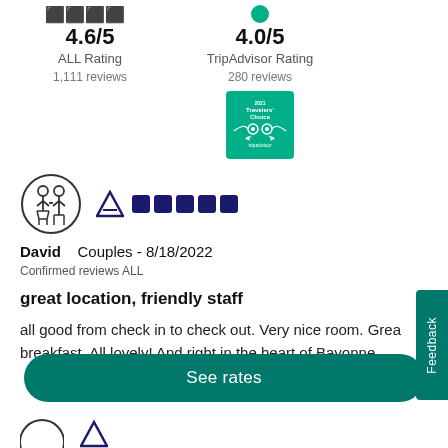[Figure (infographic): ALL rating score 4.6/5 with 1,111 reviews and TripAdvisor rating 4.0/5 with 280 reviews and a Travelers Choice badge]
[Figure (infographic): Couples traveler icon circle with Accor logo and 5-dot/square rating]
David   Couples - 8/18/2022
Confirmed reviews ALL
great location, friendly staff
all good from check in to check out. Very nice room. Great breakfast. All lovely! And right in the heart of Bayonne